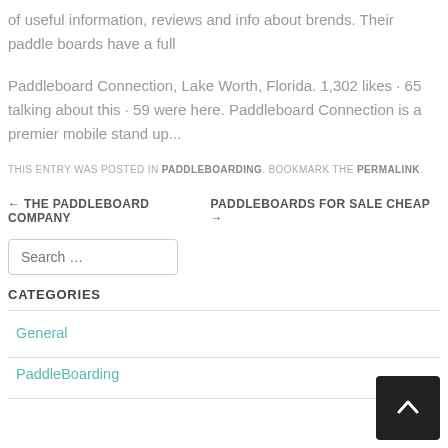of useful information, reviews and info about brends. Their paddle boards have a full
Paddleboard Connection, Lake Worth, Florida. 1,302 likes · 65 talking about this · 59 were here. Paddleboard Connection is a premier mobile stand up...
THIS ENTRY WAS POSTED IN PADDLEBOARDING. BOOKMARK THE PERMALINK.
← THE PADDLEBOARD COMPANY    PADDLEBOARDS FOR SALE CHEAP →
Search ...
CATEGORIES
General
PaddleBoarding